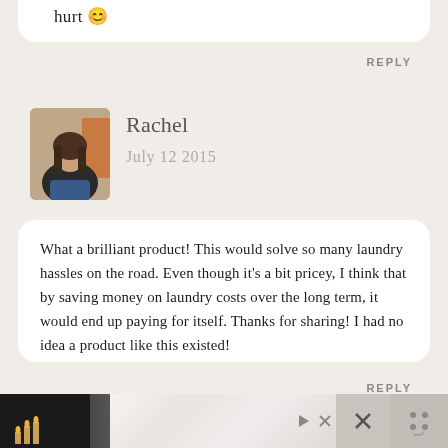hurt 😊
REPLY
[Figure (photo): Profile photo of Rachel, a woman with long hair wearing a denim jacket, standing outdoors]
Rachel
July 12 2015
What a brilliant product! This would solve so many laundry hassles on the road. Even though it’s a bit pricey, I think that by saving money on laundry costs over the long term, it would end up paying for itself. Thanks for sharing! I had no idea a product like this existed!
REPLY
[Figure (other): Advertisement banner at the bottom of the page with dark background, candles, and white section with close button]